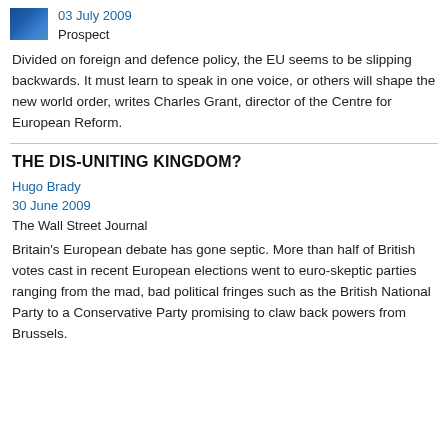[Figure (photo): Small blue image thumbnail, appears to be a flag or European-themed image]
03 July 2009
Prospect
Divided on foreign and defence policy, the EU seems to be slipping backwards. It must learn to speak in one voice, or others will shape the new world order, writes Charles Grant, director of the Centre for European Reform.
THE DIS-UNITING KINGDOM?
Hugo Brady
30 June 2009
The Wall Street Journal
Britain's European debate has gone septic. More than half of British votes cast in recent European elections went to euro-skeptic parties ranging from the mad, bad political fringes such as the British National Party to a Conservative Party promising to claw back powers from Brussels.